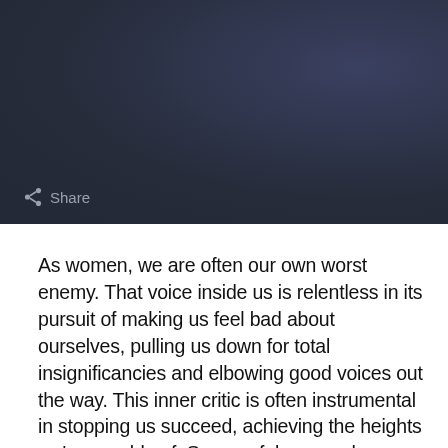[Figure (photo): Dark blue-grey background image, likely a photo with dark tones, with a share button overlay in the lower left.]
As women, we are often our own worst enemy. That voice inside us is relentless in its pursuit of making us feel bad about ourselves, pulling us down for total insignificancies and elbowing good voices out the way. This inner critic is often instrumental in stopping us succeed, achieving the heights we're capable of. Successful women have also had to contend this voice but they have